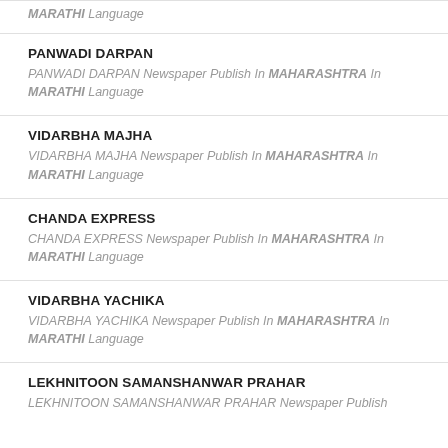MARATHI Language
PANWADI DARPAN — PANWADI DARPAN Newspaper Publish In MAHARASHTRA In MARATHI Language
VIDARBHA MAJHA — VIDARBHA MAJHA Newspaper Publish In MAHARASHTRA In MARATHI Language
CHANDA EXPRESS — CHANDA EXPRESS Newspaper Publish In MAHARASHTRA In MARATHI Language
VIDARBHA YACHIKA — VIDARBHA YACHIKA Newspaper Publish In MAHARASHTRA In MARATHI Language
LEKHNITOON SAMANSHANWAR PRAHAR — LEKHNITOON SAMANSHANWAR PRAHAR Newspaper Publish...